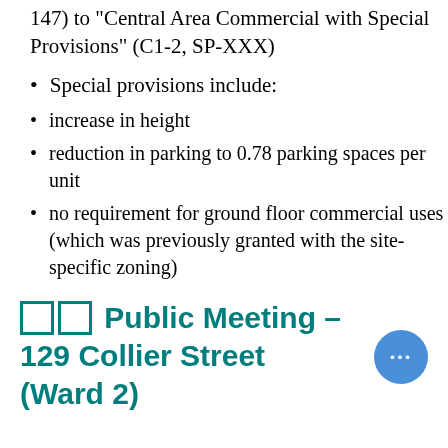147) to "Central Area Commercial with Special Provisions" (C1-2, SP-XXX)
Special provisions include:
increase in height
reduction in parking to 0.78 parking spaces per unit
no requirement for ground floor commercial uses (which was previously granted with the site-specific zoning)
🏢 Public Meeting – 129 Collier Street (Ward 2)